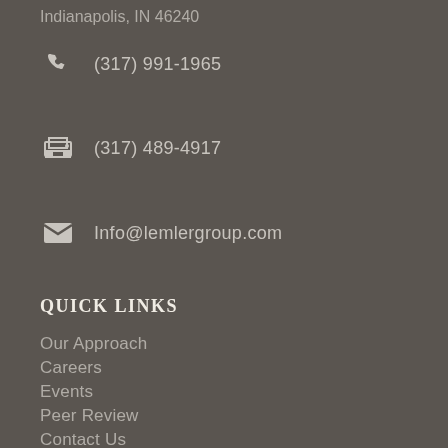Indianapolis, IN 46240
(317) 991-1965
(317) 489-4917
Info@lemlergroup.com
QUICK LINKS
Our Approach
Careers
Events
Peer Review
Contact Us